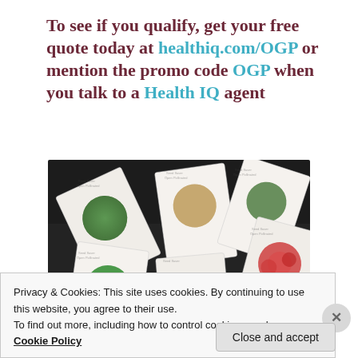To see if you qualify, get your free quote today at healthiq.com/OGP or mention the promo code OGP when you talk to a Health IQ agent
[Figure (photo): Photo of multiple seed packet cards spread out on a dark surface, each featuring circular images of vegetables (broccoli, tomatoes, green pepper, peas, etc.) on white cards]
Privacy & Cookies: This site uses cookies. By continuing to use this website, you agree to their use.
To find out more, including how to control cookies, see here: Cookie Policy
Close and accept